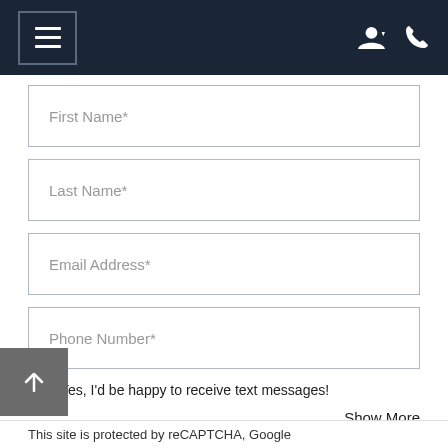[Figure (screenshot): Navigation bar with hamburger menu icon on the left and user/phone icons on the right, dark navy background]
First Name*
Last Name*
Email Address*
Phone Number*
Yes, I'd be happy to receive text messages!
Show More
Add a mess
This site is protected by reCAPTCHA, Google